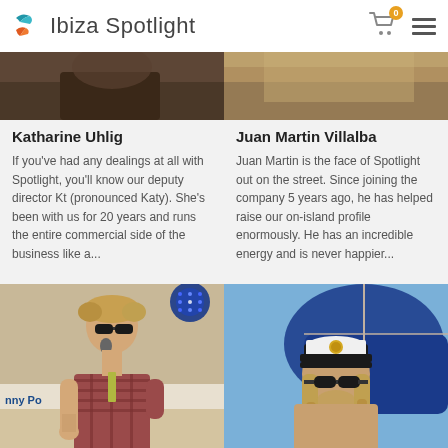Ibiza Spotlight
[Figure (photo): Partial photo of Katharine Uhlig (cropped, dark tones)]
[Figure (photo): Partial photo of Juan Martin Villalba (cropped, warm tones)]
Katharine Uhlig
If you've had any dealings at all with Spotlight, you'll know our deputy director Kt (pronounced Katy). She's been with us for 20 years and runs the entire commercial side of the business like a...
Juan Martin Villalba
Juan Martin is the face of Spotlight out on the street. Since joining the company 5 years ago, he has helped raise our on-island profile enormously. He has an incredible energy and is never happier...
[Figure (photo): Man with sunglasses singing into a microphone on a stage, wearing a plaid shirt, with blue stage lighting behind him. Text visible: 'nny Po...al']
[Figure (photo): Man with long hair wearing a captain's hat and sunglasses on a boat, with blue inflatable behind him]